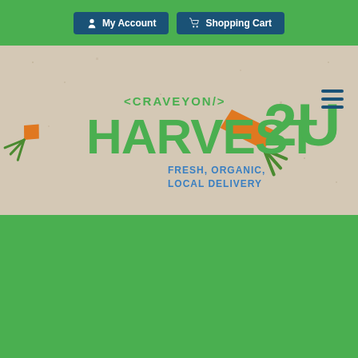My Account | Shopping Cart
[Figure (logo): Harvest2U logo with carrots and text: CRAVEYON/ HARVEST2U - FRESH, ORGANIC, LOCAL DELIVERY]